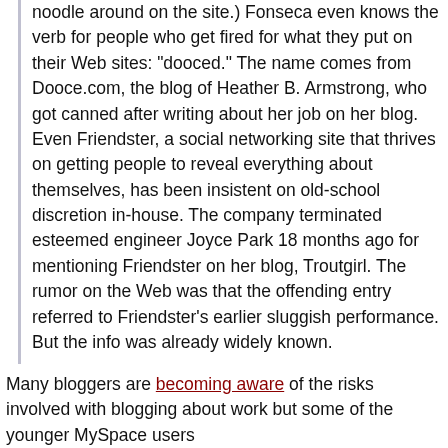noodle around on the site.) Fonseca even knows the verb for people who get fired for what they put on their Web sites: "dooced." The name comes from Dooce.com, the blog of Heather B. Armstrong, who got canned after writing about her job on her blog. Even Friendster, a social networking site that thrives on getting people to reveal everything about themselves, has been insistent on old-school discretion in-house. The company terminated esteemed engineer Joyce Park 18 months ago for mentioning Friendster on her blog, Troutgirl. The rumor on the Web was that the offending entry referred to Friendster's earlier sluggish performance. But the info was already widely known.
Many bloggers are becoming aware of the risks involved with blogging about work but some of the younger MySpace users